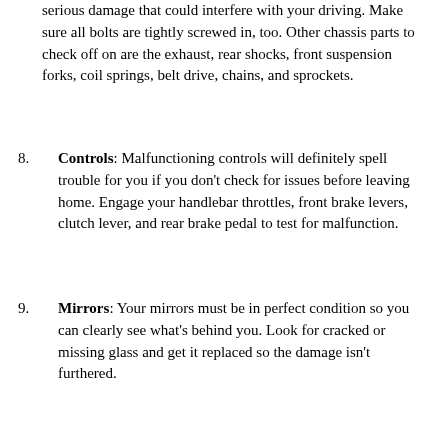serious damage that could interfere with your driving. Make sure all bolts are tightly screwed in, too. Other chassis parts to check off on are the exhaust, rear shocks, front suspension forks, coil springs, belt drive, chains, and sprockets.
8. Controls: Malfunctioning controls will definitely spell trouble for you if you don't check for issues before leaving home. Engage your handlebar throttles, front brake levers, clutch lever, and rear brake pedal to test for malfunction.
9. Mirrors: Your mirrors must be in perfect condition so you can clearly see what's behind you. Look for cracked or missing glass and get it replaced so the damage isn't furthered.